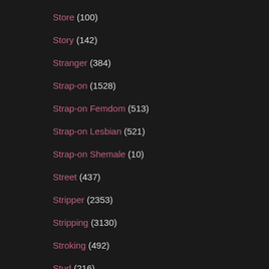Store (100)
Story (142)
Stranger (384)
Strap-on (1528)
Strap-on Femdom (513)
Strap-on Lesbian (521)
Strap-on Shemale (10)
Street (437)
Stripper (2353)
Stripping (3130)
Stroking (492)
Stud (216)
Student (446)
Stunning (260)
Stupid Girl (16)